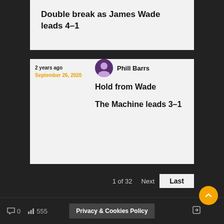Double break as James Wade leads 4-1
2 years ago
September 26, 2020
Phill Barrs
Hold from Wade
The Machine leads 3-1
1 of 32
Next
Last
0  555  Privacy & Cookies Policy